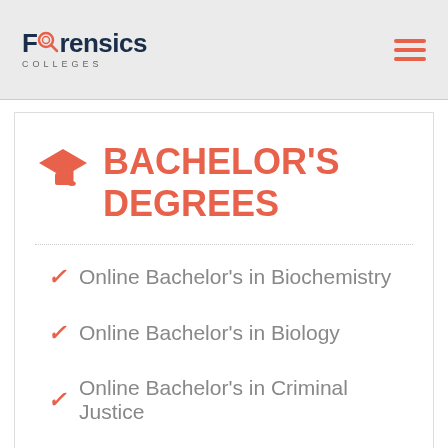Forensics Colleges
BACHELOR'S DEGREES
Online Bachelor's in Biochemistry
Online Bachelor's in Biology
Online Bachelor's in Criminal Justice